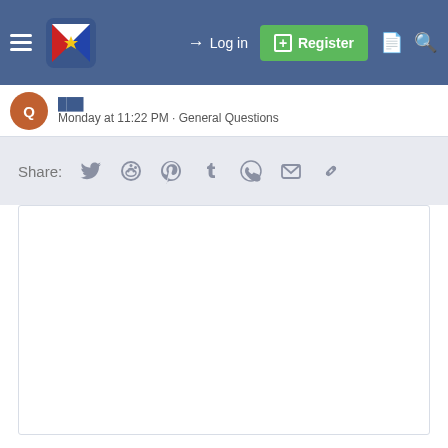Log in  Register
Monday at 11:22 PM · General Questions
Share: